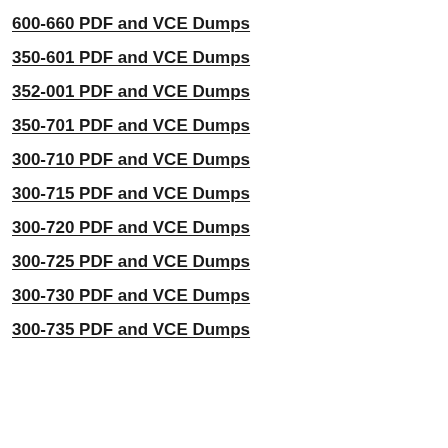600-660 PDF and VCE Dumps
350-601 PDF and VCE Dumps
352-001 PDF and VCE Dumps
350-701 PDF and VCE Dumps
300-710 PDF and VCE Dumps
300-715 PDF and VCE Dumps
300-720 PDF and VCE Dumps
300-725 PDF and VCE Dumps
300-730 PDF and VCE Dumps
300-735 PDF and VCE Dumps